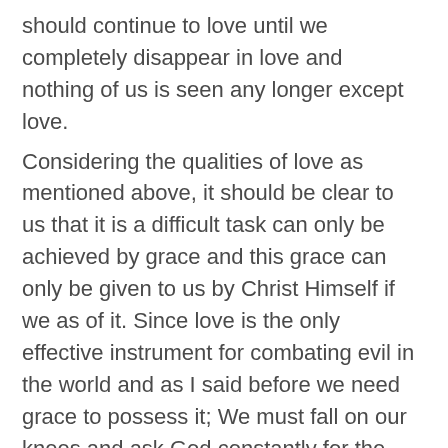should continue to love until we completely disappear in love and nothing of us is seen any longer except love.
Considering the qualities of love as mentioned above, it should be clear to us that it is a difficult task can only be achieved by grace and this grace can only be given to us by Christ Himself if we as of it. Since love is the only effective instrument for combating evil in the world and as I said before we need grace to possess it; We must fall on our knees and ask God constantly for the grace to accomplish such onerous task.
The problem of the world is nothing other than lack of love. Many people have been disappointed that they